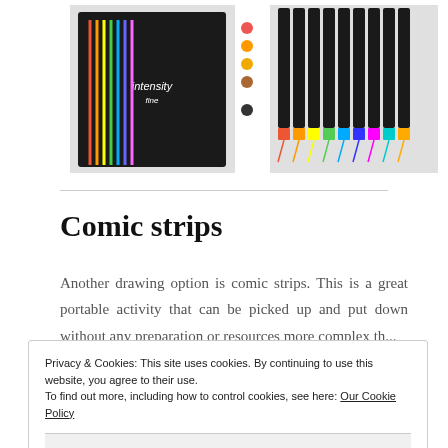[Figure (photo): Two product photos: a set of colorful 'intensity fine' markers on the left, and a row of dual-tip brush pens fanned out on the right, with colored dots in between.]
Comic strips
Another drawing option is comic strips. This is a great portable activity that can be picked up and put down without any preparation or resources more complex th...
Privacy & Cookies: This site uses cookies. By continuing to use this website, you agree to their use.
To find out more, including how to control cookies, see here: Our Cookie Policy
Close and accept
[Figure (photo): Bottom strip showing comic-related book covers and illustrations including 'Write' and 'POW!' text.]